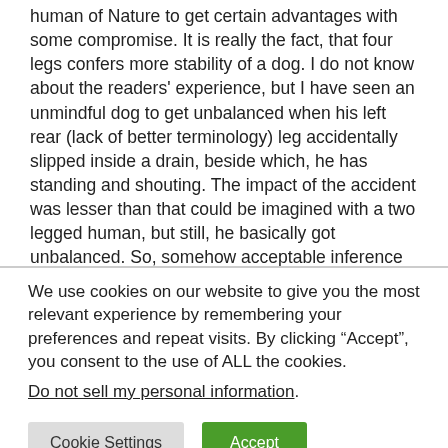human of Nature to get certain advantages with some compromise. It is really the fact, that four legs confers more stability of a dog. I do not know about the readers' experience, but I have seen an unmindful dog to get unbalanced when his left rear (lack of better terminology) leg accidentally slipped inside a drain, beside which, he has standing and shouting. The impact of the accident was lesser than that could be imagined with a two legged human, but still, he basically got unbalanced. So, somehow acceptable inference is – a four legged will have better balance than a two legged
We use cookies on our website to give you the most relevant experience by remembering your preferences and repeat visits. By clicking “Accept”, you consent to the use of ALL the cookies.
Do not sell my personal information.